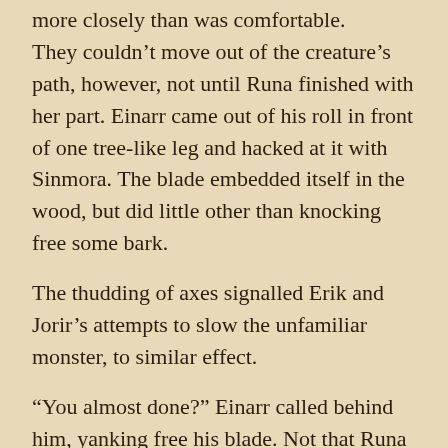more closely than was comfortable.
They couldn't move out of the creature's path, however, not until Runa finished with her part. Einarr came out of his roll in front of one tree-like leg and hacked at it with Sinmora. The blade embedded itself in the wood, but did little other than knocking free some bark.
The thudding of axes signalled Erik and Jorir's attempts to slow the unfamiliar monster, to similar effect.
“You almost done?” Einarr called behind him, yanking free his blade. Not that Runa could answer him. He looked up: with a little luck…
The “leg” he stood before was gliding towards